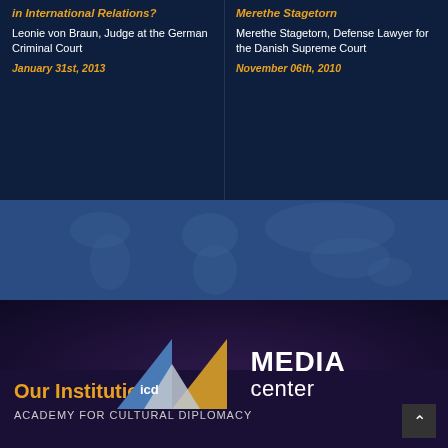in International Relations?
Leonie von Braun, Judge at the German Criminal Court
January 31st, 2013
Merethe Stagetorn
Merethe Stagetorn, Defense Lawyer for the Danish Supreme Court
November 06th, 2010
[Figure (map): World map silhouette on blue background]
[Figure (logo): ICD Media Center logo with triangles (blue and gold) and text MEDIA center on dark audience background]
Our Institutions:
ACADEMY FOR CULTURAL DIPLOMACY